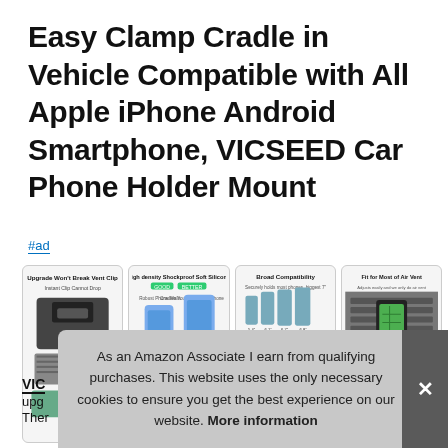Easy Clamp Cradle in Vehicle Compatible with All Apple iPhone Android Smartphone, VICSEED Car Phone Holder Mount
#ad
[Figure (photo): Four product images of the VICSEED Car Phone Holder Mount showing: upgrade vent clip mechanism, high-density shockproof soft silicone, broad compatibility with phone sizes, and fit for most air vents with a phone mounted.]
VIC
upg
Ther
As an Amazon Associate I earn from qualifying purchases. This website uses the only necessary cookies to ensure you get the best experience on our website. More information